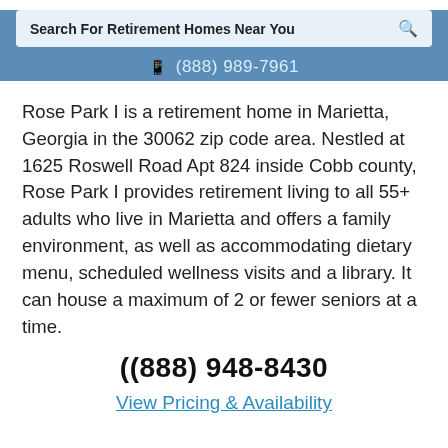Search For Retirement Homes Near You
📱 (888) 989-7961
Rose Park I is a retirement home in Marietta, Georgia in the 30062 zip code area. Nestled at 1625 Roswell Road Apt 824 inside Cobb county, Rose Park I provides retirement living to all 55+ adults who live in Marietta and offers a family environment, as well as accommodating dietary menu, scheduled wellness visits and a library. It can house a maximum of 2 or fewer seniors at a time.
(888) 948-8430
View Pricing & Availability